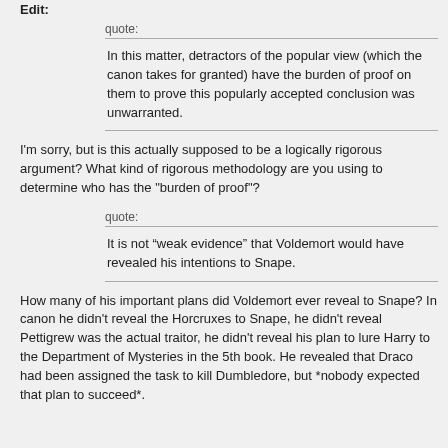quote:
In this matter, detractors of the popular view (which the canon takes for granted) have the burden of proof on them to prove this popularly accepted conclusion was unwarranted.
I'm sorry, but is this actually supposed to be a logically rigorous argument? What kind of rigorous methodology are you using to determine who has the "burden of proof"?
quote:
It is not “weak evidence” that Voldemort would have revealed his intentions to Snape.
How many of his important plans did Voldemort ever reveal to Snape? In canon he didn't reveal the Horcruxes to Snape, he didn't reveal Pettigrew was the actual traitor, he didn't reveal his plan to lure Harry to the Department of Mysteries in the 5th book. He revealed that Draco had been assigned the task to kill Dumbledore, but *nobody expected that plan to succeed*.